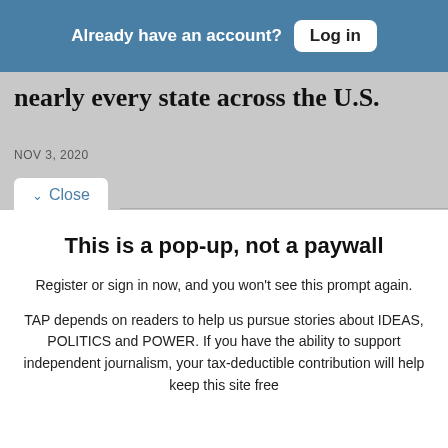Already have an account? Log in
nearly every state across the U.S.
NOV 3, 2020
Close
This is a pop-up, not a paywall
Register or sign in now, and you won't see this prompt again.
TAP depends on readers to help us pursue stories about IDEAS, POLITICS and POWER. If you have the ability to support independent journalism, your tax-deductible contribution will help keep this site free
Free Newsletters 4